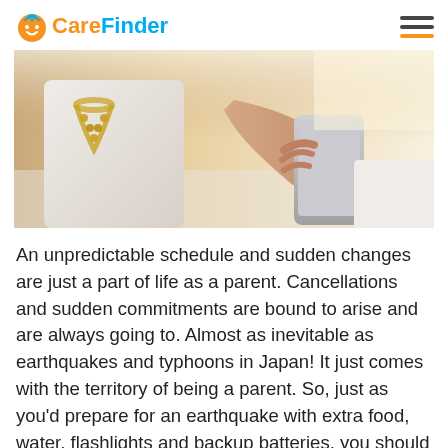CareFinder
[Figure (photo): Close-up photo of a person wearing a white top and gold beaded necklace, holding a smartphone with one hand resting on a white surface, bright warm lighting.]
An unpredictable schedule and sudden changes are just a part of life as a parent. Cancellations and sudden commitments are bound to arise and are always going to. Almost as inevitable as earthquakes and typhoons in Japan! It just comes with the territory of being a parent. So, just as you'd prepare for an earthquake with extra food, water, flashlights and backup batteries, you should prepare for sudden changes in your schedule with a backup babysitter.